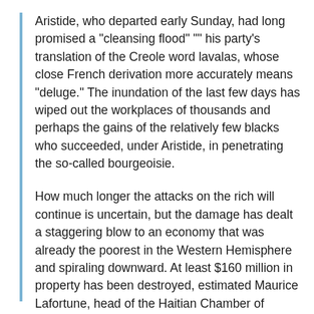Aristide, who departed early Sunday, had long promised a "cleansing flood" "" his party's translation of the Creole word lavalas, whose close French derivation more accurately means "deluge." The inundation of the last few days has wiped out the workplaces of thousands and perhaps the gains of the relatively few blacks who succeeded, under Aristide, in penetrating the so-called bourgeoisie.
How much longer the attacks on the rich will continue is uncertain, but the damage has dealt a staggering blow to an economy that was already the poorest in the Western Hemisphere and spiraling downward. At least $160 million in property has been destroyed, estimated Maurice Lafortune, head of the Haitian Chamber of Commerce.